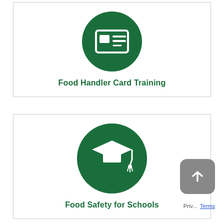[Figure (illustration): Green circle icon with a white ID card / dashboard icon representing Food Handler Card Training]
Food Handler Card Training
[Figure (illustration): Green circle icon with a white graduation cap icon representing Food Safety for Schools]
Food Safety for Schools